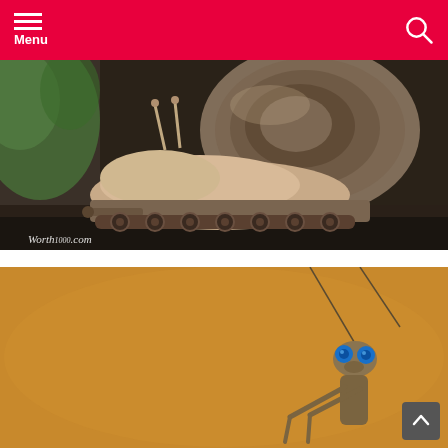Menu
[Figure (photo): A photomanipulation of a snail whose body replaces the body of a military tank, on a dark surface with green blurred background. Watermark reads Worth1000.com]
[Figure (photo): A praying mantis with bright blue eyes against a golden/tan background, with thin antennae visible at the top]